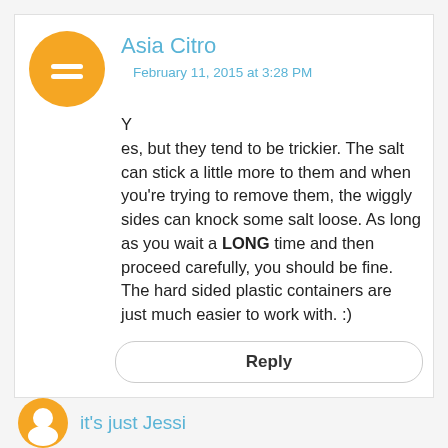[Figure (illustration): Orange circle Blogger avatar icon with white equal-sign/person symbol]
Asia Citro
February 11, 2015 at 3:28 PM
Yes, but they tend to be trickier. The salt can stick a little more to them and when you're trying to remove them, the wiggly sides can knock some salt loose. As long as you wait a LONG time and then proceed carefully, you should be fine. The hard sided plastic containers are just much easier to work with. :)
Reply
it's just Jessi